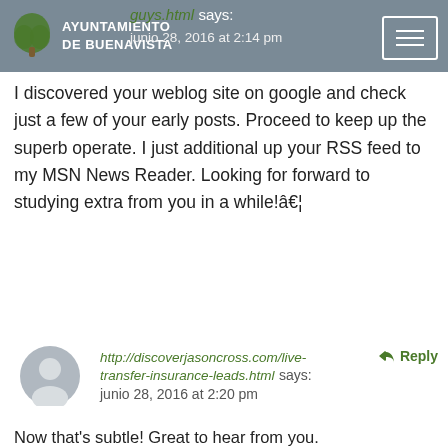AYUNTAMIENTO DE BUENAVISTA
guys.html says:
junio 28, 2016 at 2:14 pm
I discovered your weblog site on google and check just a few of your early posts. Proceed to keep up the superb operate. I just additional up your RSS feed to my MSN News Reader. Looking for forward to studying extra from you in a while!â€¦
http://discoverjasoncross.com/live-transfer-insurance-leads.html says:
junio 28, 2016 at 2:20 pm
Now that's subtle! Great to hear from you.
http://freuchieandfalklandchurches.com/get-a-quote-net.html says:
junio 28, 2016 at 2:37 pm